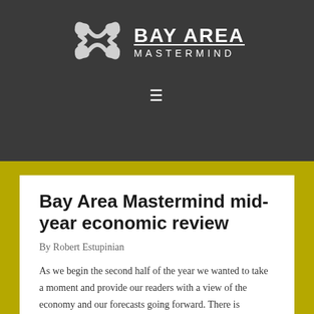[Figure (logo): Bay Area Mastermind logo: stylized circular icon in white with interlocking arrow shapes, next to text 'BAY AREA MASTERMIND' in white on dark grey background]
Bay Area Mastermind mid-year economic review
By Robert Estupinian
As we begin the second half of the year we wanted to take a moment and provide our readers with a view of the economy and our forecasts going forward. There is